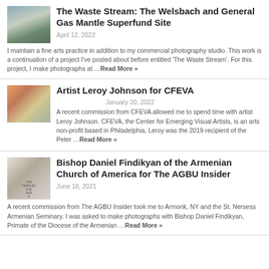The Waste Stream: The Welsbach and General Gas Mantle Superfund Site
April 12, 2022
I maintain a fine arts practice in addition to my commercial photography studio. This work is a continuation of a project I've posted about before entitled 'The Waste Stream'. For this project, I make photographs at …Read More »
Artist Leroy Johnson for CFEVA
January 20, 2022
A recent commission from CFEVA allowed me to spend time with artist Leroy Johnson. CFEVA, the Center for Emerging Visual Artists, is an arts non-profit based in Philadelphia. Leroy was the 2019 recipient of the Peter …Read More »
Bishop Daniel Findikyan of the Armenian Church of America for The AGBU Insider
June 18, 2021
A recent commission from The AGBU Insider took me to Armonk, NY and the St. Nersess Armenian Seminary. I was asked to make photographs with Bishop Daniel Findikyan, Primate of the Diocese of the Armenian …Read More »